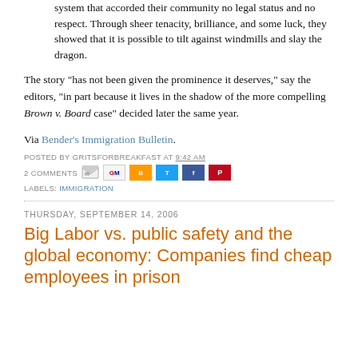system that accorded their community no legal status and no respect. Through sheer tenacity, brilliance, and some luck, they showed that it is possible to tilt against windmills and slay the dragon.
The story "has not been given the prominence it deserves," say the editors, "in part because it lives in the shadow of the more compelling Brown v. Board case" decided later the same year.
Via Bender's Immigration Bulletin.
POSTED BY GRITSFORBREAKFAST AT 9:42 AM
2 COMMENTS
LABELS: IMMIGRATION
THURSDAY, SEPTEMBER 14, 2006
Big Labor vs. public safety and the global economy: Companies find cheap employees in prison